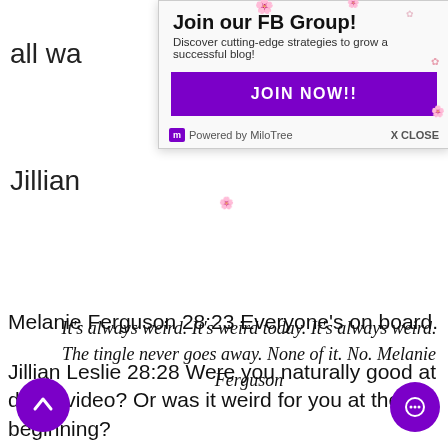all wa
Jillian
[Figure (screenshot): Popup overlay: Join our FB Group! Discover cutting-edge strategies to grow a successful blog! JOIN NOW!! Powered by MiloTree X CLOSE]
Melanie Ferguson 28:23 Everyone’s on board.
Jillian Leslie 28:28 Were you naturally good at doing video? Or was it weird for you at the beginning?
It’s always weird. It’s weird today. It’s always weird. The tingle never goes away. None of it. No. Melanie Ferguson